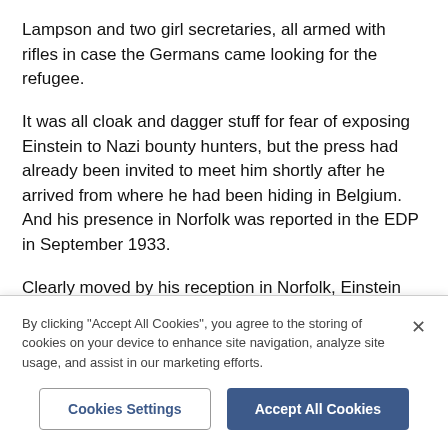Lampson and two girl secretaries, all armed with rifles in case the Germans came looking for the refugee.
It was all cloak and dagger stuff for fear of exposing Einstein to Nazi bounty hunters, but the press had already been invited to meet him shortly after he arrived from where he had been hiding in Belgium. And his presence in Norfolk was reported in the EDP in September 1933.
Clearly moved by his reception in Norfolk, Einstein later told a journalist: 'No matter how long I live I shall never forget the kindness which I have received from the
By clicking "Accept All Cookies", you agree to the storing of cookies on your device to enhance site navigation, analyze site usage, and assist in our marketing efforts.
Cookies Settings
Accept All Cookies